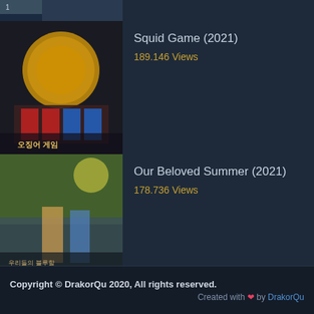[Figure (screenshot): Partial thumbnail of a show at the top, cropped]
Squid Game (2021)
189.146 Views
Our Beloved Summer (2021)
178.736 Views
The Red Sleeve (2021)
170.503 Views
Copyright © DrakorQu 2020, All rights reserved.
Created with ❤ by DrakorQu